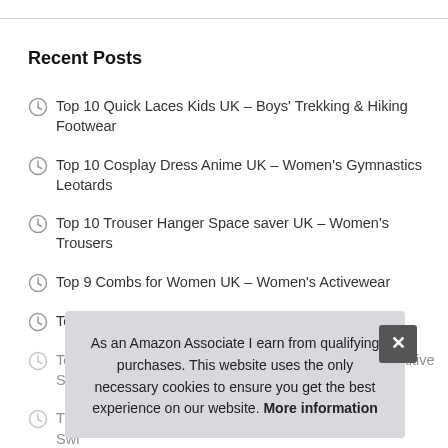Recent Posts
Top 10 Quick Laces Kids UK – Boys' Trekking & Hiking Footwear
Top 10 Cosplay Dress Anime UK – Women's Gymnastics Leotards
Top 10 Trouser Hanger Space saver UK – Women's Trousers
Top 9 Combs for Women UK – Women's Activewear
Top 10 Womens Health Barbell UK – Dumbbells
Top 5 Speedo LZR Racer Elite 2 Women UK – Competitive Swi...
T... Swi...
Top 9 Speedo Boys Jammers UK – Competitive Swimwear
As an Amazon Associate I earn from qualifying purchases. This website uses the only necessary cookies to ensure you get the best experience on our website. More information